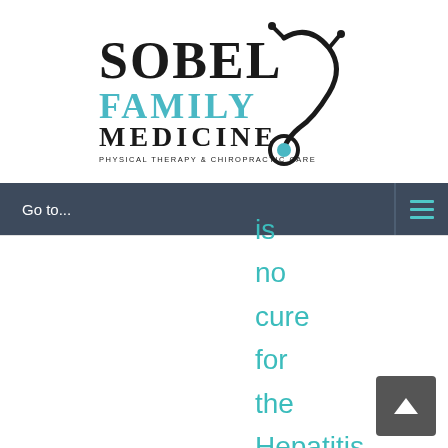[Figure (logo): Sobel Family Medicine logo with stethoscope graphic. Text reads SOBEL FAMILY MEDICINE PHYSICAL THERAPY & CHIROPRACTIC CARE]
Go to...
is no cure for the Hepatitis B virus